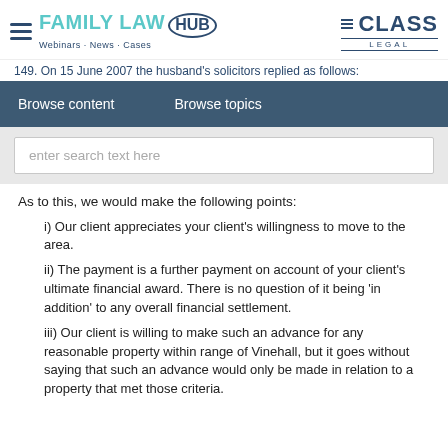FAMILY LAW HUB — Webinars · News · Cases | CLASS LEGAL
149. On 15 June 2007 the husband's solicitors replied as follows:
Browse content   Browse topics
enter search text here
As to this, we would make the following points:
i) Our client appreciates your client's willingness to move to the area.
ii) The payment is a further payment on account of your client's ultimate financial award. There is no question of it being 'in addition' to any overall financial settlement.
iii) Our client is willing to make such an advance for any reasonable property within range of Vinehall, but it goes without saying that such an advance would only be made in relation to a property that met those criteria.